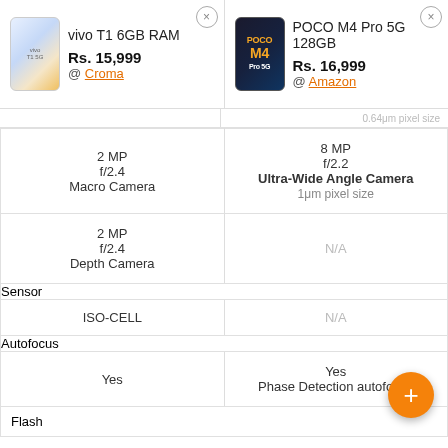| vivo T1 6GB RAM | POCO M4 Pro 5G 128GB |
| --- | --- |
| 2 MP
f/2.4
Macro Camera | 8 MP
f/2.2
Ultra-Wide Angle Camera
1μm pixel size |
| 2 MP
f/2.4
Depth Camera | N/A |
| Sensor |  |
| ISO-CELL | N/A |
| Autofocus |  |
| Yes | Yes
Phase Detection autofocus |
| Flash |  |